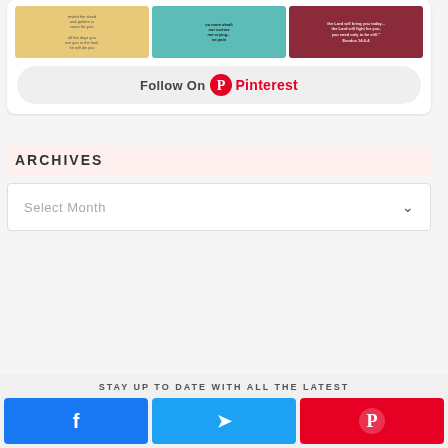[Figure (screenshot): Pinterest widget showing three pin images (bible verse cards) and a Follow On Pinterest button]
ARCHIVES
Select Month
STAY UP TO DATE WITH ALL THE LATEST
[Figure (screenshot): Three social media buttons: Facebook (blue), Twitter (cyan), Pinterest (red) with their respective icons]